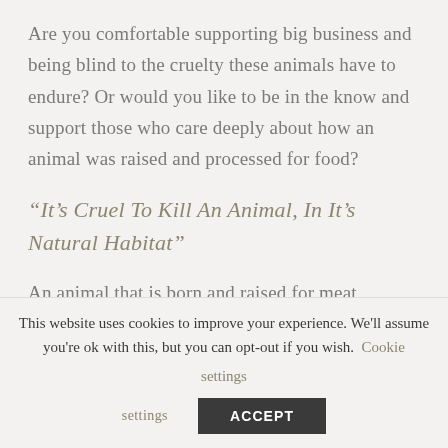Are you comfortable supporting big business and being blind to the cruelty these animals have to endure? Or would you like to be in the know and support those who care deeply about how an animal was raised and processed for food?
“It’s Cruel To Kill An Animal, In It’s Natural Habitat”
An animal that is born and raised for meat facilities, is in what it thinks is its natural habitat.
This website uses cookies to improve your experience. We’ll assume you’re ok with this, but you can opt-out if you wish. Cookie settings ACCEPT